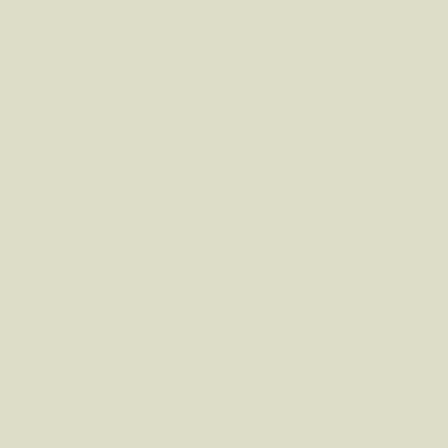| # | Time | Memory | Function |
| --- | --- | --- | --- |
| 1 | 0.0002 | 227064 | {main}( ) |
| 2 | 0.0055 | 258336 | include( '/home/users/2/allnavi/web... |
[Figure (screenshot): PHP Notice error block: Use of undefined constant s, with path /home/users/2/allnavi/web/esthe/php/info_st... and Call Stack table]
| # | Time | Memory | Function |
| --- | --- | --- | --- |
| 1 | 0.0002 | 227064 | {main}( ) |
| 2 | 0.0055 | 258336 | include( '/home/users/2/allnavi/web... |
[Figure (screenshot): PHP Notice error block: Use of undefined constant k, with path /home/users/2/allnavi/web/esthe/php/info_st... and Call Stack table]
| # | Time | Memory | Function |
| --- | --- | --- | --- |
| 1 | 0.0002 | 227064 | {main}( ) |
| 2 | 0.0055 | 258336 | include( '/home/users/2/allnavi/web... |
[Figure (screenshot): PHP Notice error block: Use of undefined constant d, with path /home/users/2/allnavi/web/esthe/php/info_st... and Call Stack table]
| # | Time | Memory | Function |
| --- | --- | --- | --- |
| 1 | 0.0002 | 227064 | {main}( ) |